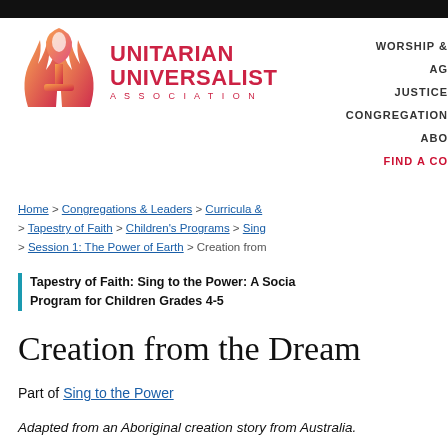[Figure (logo): Unitarian Universalist Association logo with flame and chalice]
WORSHIP & | AG | JUSTICE | CONGREGATION | ABO | FIND A CO
Home > Congregations & Leaders > Curricula & > Tapestry of Faith > Children's Programs > Sing > Session 1: The Power of Earth > Creation from
Tapestry of Faith: Sing to the Power: A Social Program for Children Grades 4-5
Creation from the Dream
Part of Sing to the Power
Adapted from an Aboriginal creation story from Australia.